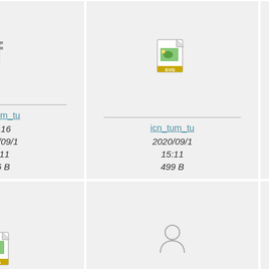[Figure (screenshot): File browser grid showing icon thumbnails with file info. Row 1: Facebook icon (icn_tum_tu, 16x16, 2020/09/15 15:11, 196 B), SVG file icon (icn_tum_tu, 2020/09/15 15:11, 499 B), Twitter bird icon (icn_tu, partially visible). Row 2: SVG file icon (icn_tum_tw), user/person icon (icn_tum_us, 16x15, 2020/09/15 15:11), partially visible SVG icon (icn_).]